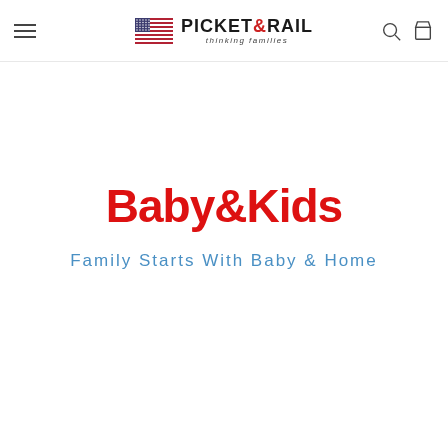Picket & Rail — thinking families
Baby&Kids
Family Starts With Baby & Home